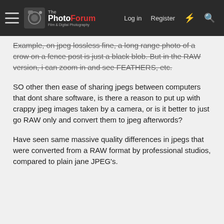The PhotoForum Film & Digital Photography | Log in | Register
Example, on jpeg lossless fine, a long range photo of a crow on a fence post is just a black blob. But in the RAW version, i can zoom in and see FEATHERS, etc.
SO other then ease of sharing jpegs between computers that dont share software, is there a reason to put up with crappy jpeg images taken by a camera, or is it better to just go RAW only and convert them to jpeg afterwords?
Have seen same massive quality differences in jpegs that were converted from a RAW format by professional studios, compared to plain jane JPEG's.